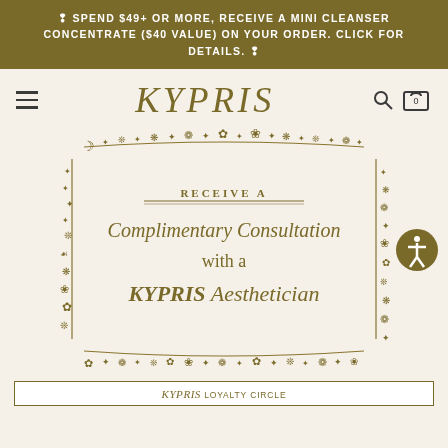SPEND $49+ OR MORE, RECEIVE A MINI CLEANSER CONCENTRATE ($40 VALUE) ON YOUR ORDER. CLICK FOR DETAILS.
KYPRIS
[Figure (illustration): Decorative botanical border in gold/olive with stars, moons, flowers, and vines framing text: RECEIVE A Complimentary Consultation with a KYPRIS Aesthetician]
KYPRIS Loyalty Circle